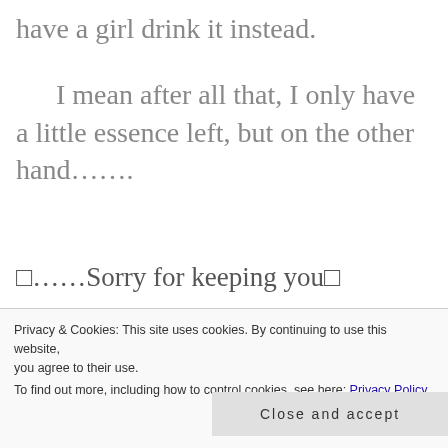have a girl drink it instead.
I mean after all that, I only have a little essence left, but on the other hand…….
□……Sorry for keeping you□
Privacy & Cookies: This site uses cookies. By continuing to use this website, you agree to their use. To find out more, including how to control cookies, see here: Privacy Policy
Close and accept